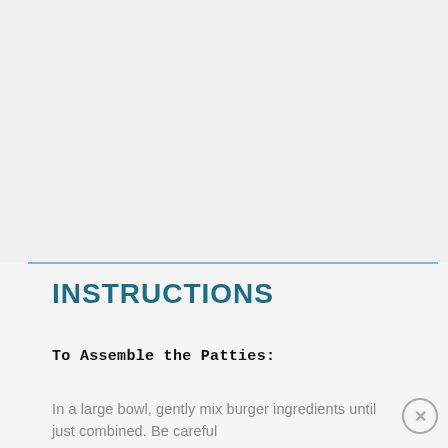[Figure (photo): Large image placeholder area at top of page, light gray background]
INSTRUCTIONS
To Assemble the Patties:
In a large bowl, gently mix burger ingredients until just combined. Be careful